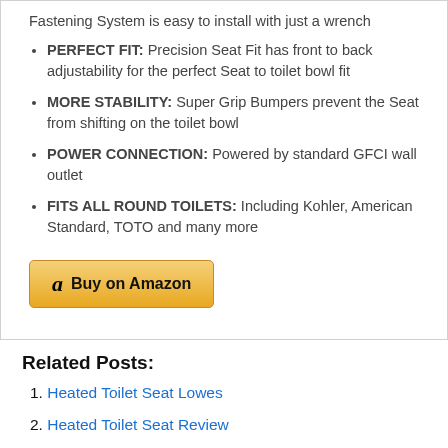Fastening System is easy to install with just a wrench
PERFECT FIT: Precision Seat Fit has front to back adjustability for the perfect Seat to toilet bowl fit
MORE STABILITY: Super Grip Bumpers prevent the Seat from shifting on the toilet bowl
POWER CONNECTION: Powered by standard GFCI wall outlet
FITS ALL ROUND TOILETS: Including Kohler, American Standard, TOTO and many more
[Figure (other): Buy on Amazon button with Amazon logo]
Related Posts:
1. Heated Toilet Seat Lowes
2. Heated Toilet Seat Review
3. Toilet Seat Heated